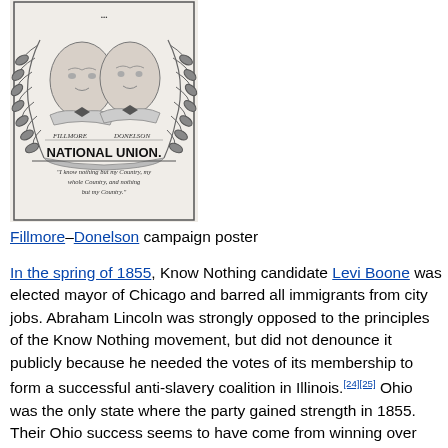[Figure (illustration): Fillmore–Donelson campaign poster showing two portraits of men in formal attire within a laurel wreath, titled 'NATIONAL UNION.' with the quote 'I know nothing but my Country, my whole Country, and nothing but my Country.']
Fillmore–Donelson campaign poster
In the spring of 1855, Know Nothing candidate Levi Boone was elected mayor of Chicago and barred all immigrants from city jobs. Abraham Lincoln was strongly opposed to the principles of the Know Nothing movement, but did not denounce it publicly because he needed the votes of its membership to form a successful anti-slavery coalition in Illinois.[24][25] Ohio was the only state where the party gained strength in 1855. Their Ohio success seems to have come from winning over immigrants, especially German-American Lutherans and Scots-Irish Presbyterians, both hostile to Catholicism. In Alabama, K...